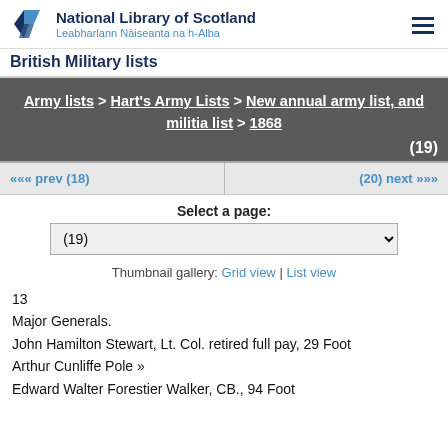National Library of Scotland / Leabharlann Nàiseanta na h-Alba
British Military lists
Army lists > Hart's Army Lists > New annual army list, and militia list > 1868
(19)
««« prev (18)
(20) next »»»
Select a page:
(19)
Thumbnail gallery: Grid view | List view
13
Major Generals.
John Hamilton Stewart, Lt. Col. retired full pay, 29 Foot
Arthur Cunliffe Pole »
Edward Walter Forestier Walker, CB., 94 Foot